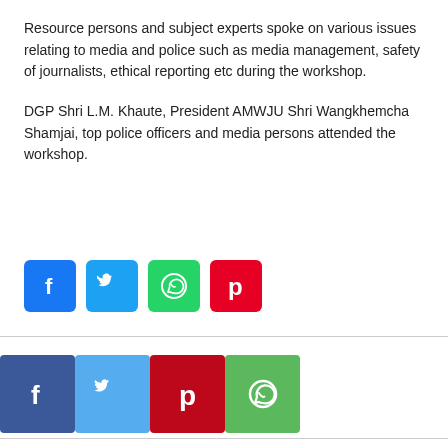Resource persons and subject experts spoke on various issues relating to media and police such as media management, safety of journalists, ethical reporting etc during the workshop.
DGP Shri L.M. Khaute, President AMWJU Shri Wangkhemcha Shamjai, top police officers and media persons attended the workshop.
[Figure (other): Row of four social media share buttons: Facebook (blue), Twitter (light blue), WhatsApp (green), Pinterest (red)]
[Figure (other): Row of four social media share buttons (larger): Facebook (dark blue), Twitter (light blue), Pinterest (dark red), WhatsApp (green)]